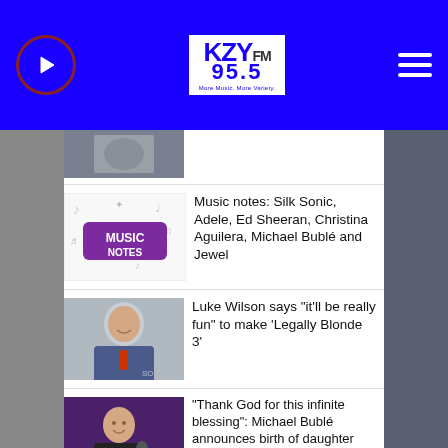[Figure (logo): KZY FM 95.5 radio station logo in blue and white]
Music notes: Silk Sonic, Adele, Ed Sheeran, Christina Aguilera, Michael Bublé and Jewel
Luke Wilson says "it'll be really fun" to make 'Legally Blonde 3'
"Thank God for this infinite blessing": Michael Bublé announces birth of daughter Cielo Yoli Rose
John Corbett's Aidan Shaw set to join 'Sex and